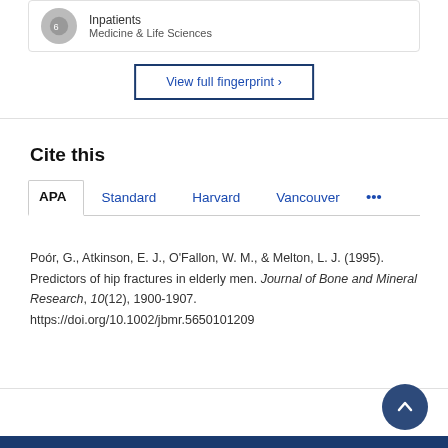Inpatients
Medicine & Life Sciences
View full fingerprint ›
Cite this
APA | Standard | Harvard | Vancouver | ...
Poór, G., Atkinson, E. J., O'Fallon, W. M., & Melton, L. J. (1995). Predictors of hip fractures in elderly men. Journal of Bone and Mineral Research, 10(12), 1900-1907. https://doi.org/10.1002/jbmr.5650101209